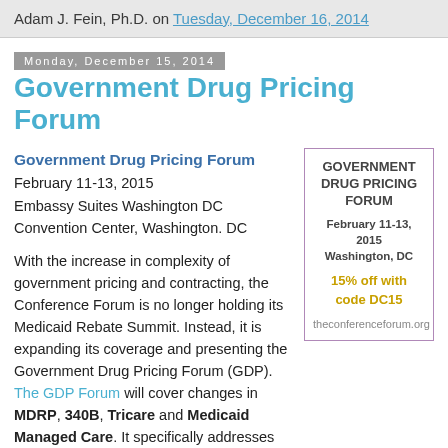Adam J. Fein, Ph.D. on Tuesday, December 16, 2014
Monday, December 15, 2014
Government Drug Pricing Forum
Government Drug Pricing Forum
February 11-13, 2015
Embassy Suites Washington DC Convention Center, Washington. DC
[Figure (infographic): Advertisement box for Government Drug Pricing Forum, February 11-13, 2015, Washington, DC. 15% off with code DC15. theconferenceforum.org]
With the increase in complexity of government pricing and contracting, the Conference Forum is no longer holding its Medicaid Rebate Summit. Instead, it is expanding its coverage and presenting the Government Drug Pricing Forum (GDP). The GDP Forum will cover changes in MDRP, 340B, Tricare and Medicaid Managed Care. It specifically addresses the AMP Final Rule, AMP-based FULs, proposed HRSA guidance, rise of contract pharmacies, and new state reporting requirements impact government and commercial contracting rules and